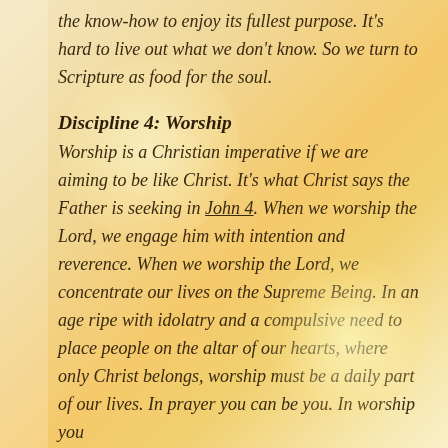the know-how to enjoy its fullest purpose. It's hard to live out what we don't know. So we turn to Scripture as food for the soul.
Discipline 4: Worship
Worship is a Christian imperative if we are aiming to be like Christ. It's what Christ says the Father is seeking in John 4. When we worship the Lord, we engage him with intention and reverence. When we worship the Lord, we concentrate our lives on the Supreme Being. In an age ripe with idolatry and a compulsive need to place people on the altar of our hearts, where only Christ belongs, worship must be a daily part of our lives. In prayer you can be you. In worship you